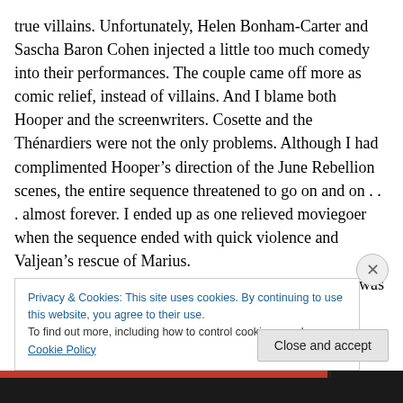true villains. Unfortunately, Helen Bonham-Carter and Sascha Baron Cohen injected a little too much comedy into their performances. The couple came off more as comic relief, instead of villains. And I blame both Hooper and the screenwriters. Cosette and the Thénardiers were not the only problems. Although I had complimented Hooper's direction of the June Rebellion scenes, the entire sequence threatened to go on and on . . . almost forever. I ended up as one relieved moviegoer when the sequence ended with quick violence and Valjean's rescue of Marius. I have a deep suspicion that "LES MISERABLES" was
Privacy & Cookies: This site uses cookies. By continuing to use this website, you agree to their use.
To find out more, including how to control cookies, see here: Cookie Policy